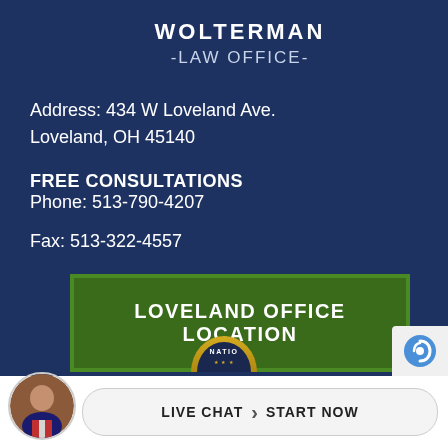WOLTERMAN
-LAW OFFICE-
Address: 434 W Loveland Ave.
Loveland, OH 45140
FREE CONSULTATIONS
Phone: 513-790-4207
Fax: 513-322-4557
LOVELAND OFFICE LOCATION
[Figure (photo): Circular avatar photo of attorney in red tie]
LIVE CHAT › START NOW
[Figure (logo): Partial circular gold badge/seal at bottom center]
[Figure (logo): reCAPTCHA icon at bottom right]